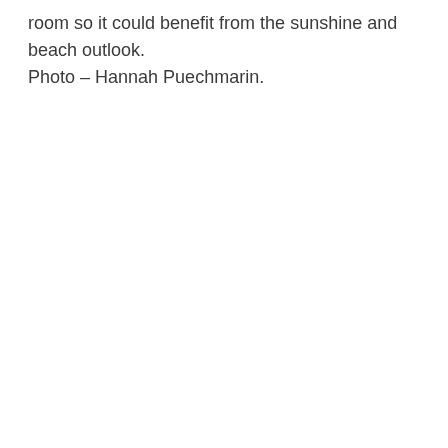room so it could benefit from the sunshine and beach outlook. Photo – Hannah Puechmarin.